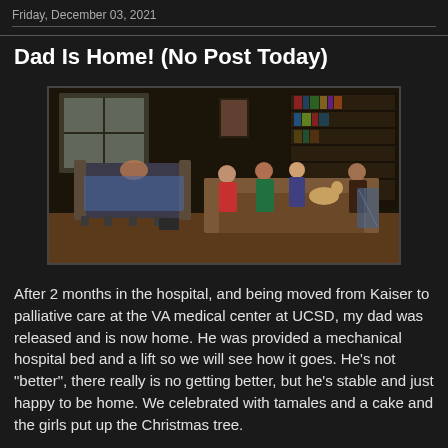Friday, December 03, 2021
Dad Is Home! (No Post Today)
[Figure (photo): Family gathered in a living room; a person lying in a mechanical hospital bed on the left, and several family members seated on a couch on the right. Bookshelves visible in the background.]
After 2 months in the hospital, and being moved from Kaiser to palliative care at the VA medical center at UCSD, my dad was released and is now home. He was provided a mechanical hospital bed and a lift so we will see how it goes. He's not "better", there really is no getting better, but he's stable and just happy to be home. We celebrated with tamales and a cake and the girls put up the Christmas tree.
All this to say, no data post today, but know that one week after Thanksgiving, like clockwork San Diego had the most